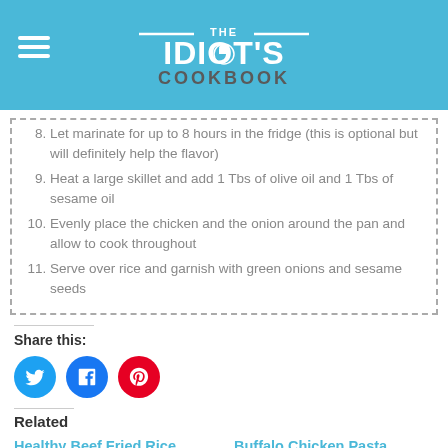THE IDIOT'S COOKBOOK
8. Let marinate for up to 8 hours in the fridge (this is optional but will definitely help the flavor)
9. Heat a large skillet and add 1 Tbs of olive oil and 1 Tbs of sesame oil
10. Evenly place the chicken and the onion around the pan and allow to cook throughout
11. Serve over rice and garnish with green onions and sesame seeds
Share this:
[Figure (other): Social sharing icons: Twitter (blue circle), Facebook (blue circle), Pinterest (red circle)]
Related
Healthy Beef Fried Rice
March 7, 2017
In "Recipes"
Buffalo Chicken Pasta
February 9, 2017
In "Dinner"